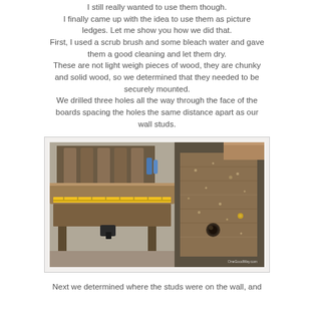I still really wanted to use them though.
I finally came up with the idea to use them as picture ledges. Let me show you how we did that.
First, I used a scrub brush and some bleach water and gave them a good cleaning and let them dry.
These are not light weigh pieces of wood, they are chunky and solid wood, so we determined that they needed to be securely mounted.
We drilled three holes all the way through the face of the boards spacing the holes the same distance apart as our wall studs.
[Figure (photo): Two photos side by side: left photo shows a wooden board being measured with a yellow tape measure on a workbench with a chair in background; right photo shows close-up of a weathered wooden board with drilled holes and sawdust.]
Next we determined where the studs were on the wall, and